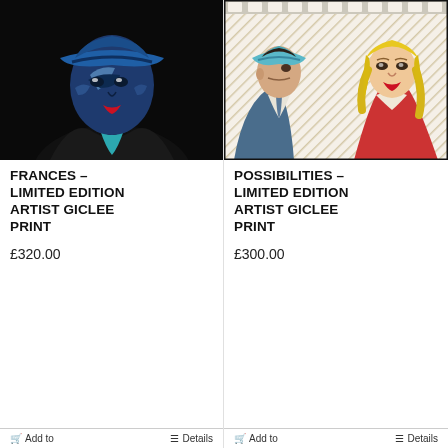[Figure (illustration): Pop art style portrait of a woman with blue face and hat, wearing dark clothing, against a black background.]
FRANCES – LIMITED EDITION ARTIST GICLEE PRINT
£320.00
[Figure (illustration): Pop art / comic style illustration of a man in a blue cowboy hat and a blonde woman in red, reminiscent of a film strip scene.]
POSSIBILITIES – LIMITED EDITION ARTIST GICLEE PRINT
£300.00